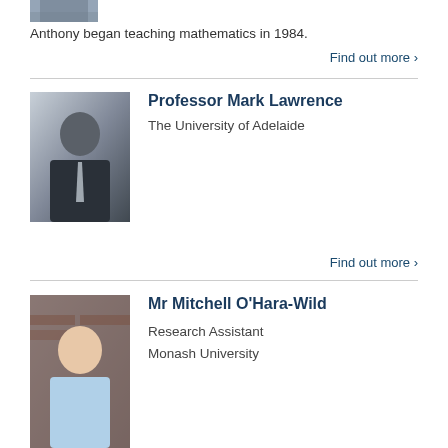[Figure (photo): Partial photo of a person, cropped at top of page]
Anthony began teaching mathematics in 1984.
Find out more >
Professor Mark Lawrence
[Figure (photo): Portrait photo of Professor Mark Lawrence in dark suit with glasses]
The University of Adelaide
Find out more >
Mr Mitchell O'Hara-Wild
[Figure (photo): Portrait photo of Mr Mitchell O'Hara-Wild, young man smiling in front of brick wall]
Research Assistant
Monash University